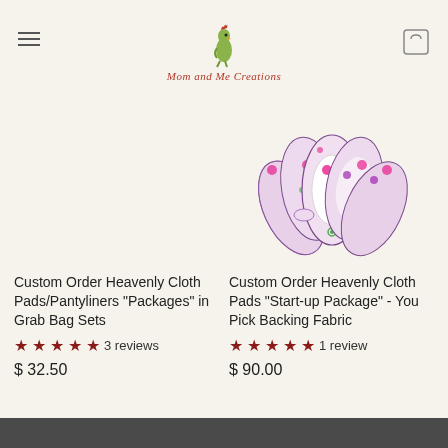Mom and Me Creations
[Figure (photo): Product photo of custom order heavenly cloth pads start-up package with floral purple/pink pattern, spread out like a fan]
Custom Order Heavenly Cloth Pads/Pantyliners "Packages" in Grab Bag Sets
★★★★★ 3 reviews
$ 32.50
Custom Order Heavenly Cloth Pads "Start-up Package" - You Pick Backing Fabric
★★★★★ 1 review
$ 90.00